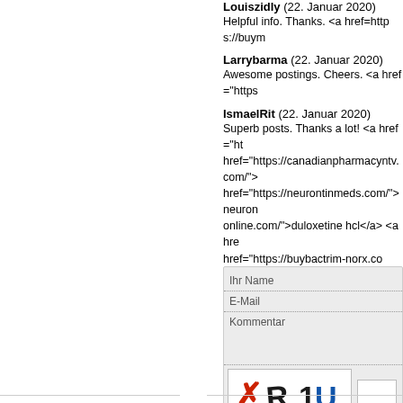Louiszidly (22. Januar 2020)
Helpful info. Thanks. <a href=https://buym...
Larrybarma (22. Januar 2020)
Awesome postings. Cheers. <a href="https...
IsmaelRit (22. Januar 2020)
Superb posts. Thanks a lot! <a href="ht... href="https://canadianpharmacyntv.com/"> href="https://neurontinmeds.com/">neuron... online.com/">duloxetine hcl</a> <a hre... href="https://buybactrim-norx.com/">Bactri...
Ernestfup (22. Januar 2020)
You revealed this adequately! <a href="htt...
Kommentar schreiben
Ihr Name
E-Mail
Kommentar
[Figure (other): CAPTCHA image with stylized letters: red X, dark R, dark 1, blue U]
abschicken